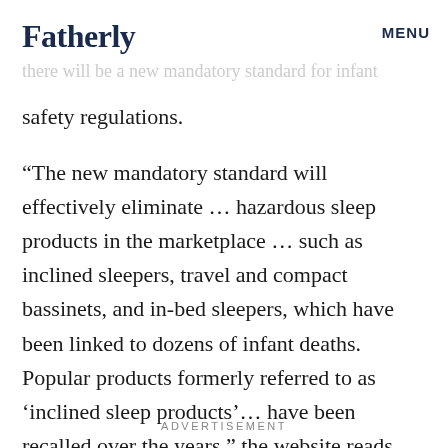Fatherly | MENU
Noting the fact that there is no such regulation, the [Fatherly]ced that starting in the middle of there will be a new mandatory standard for infant safety regulations.
“The new mandatory standard will effectively eliminate … hazardous sleep products in the marketplace … such as inclined sleepers, travel and compact bassinets, and in-bed sleepers, which have been linked to dozens of infant deaths. Popular products formerly referred to as ‘inclined sleep products’… have been recalled over the years,” the website reads.
ADVERTISEMENT